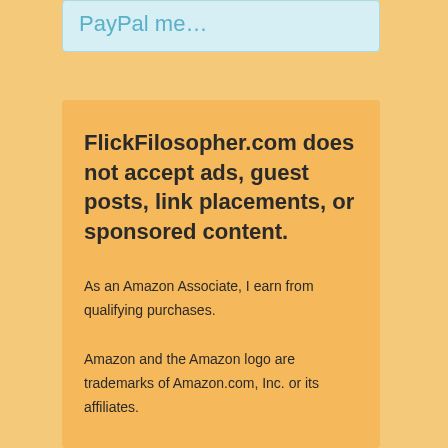PayPal me…
FlickFilosopher.com does not accept ads, guest posts, link placements, or sponsored content.
As an Amazon Associate, I earn from qualifying purchases.
Amazon and the Amazon logo are trademarks of Amazon.com, Inc. or its affiliates.